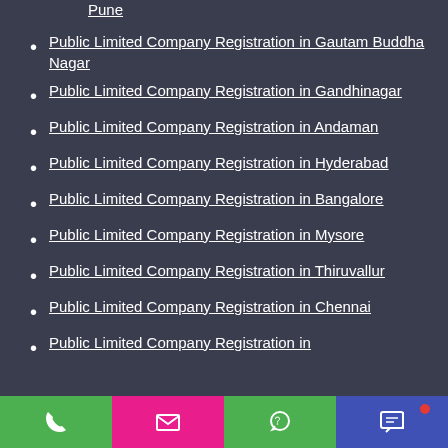Pune
Public Limited Company Registration in Gautam Buddha Nagar
Public Limited Company Registration in Gandhinagar
Public Limited Company Registration in Andaman
Public Limited Company Registration in Hyderabad
Public Limited Company Registration in Bangalore
Public Limited Company Registration in Mysore
Public Limited Company Registration in Thiruvallur
Public Limited Company Registration in Chennai
Public Limited Company Registration in